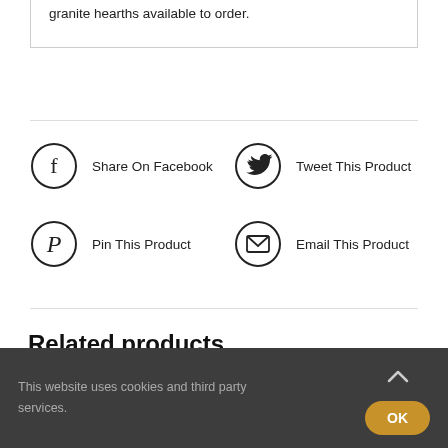granite hearths available to order.
[Figure (other): Share on Facebook icon (circle with letter f) and Twitter icon (circle with bird) and Pinterest icon (circle with P) and Email icon (circle with envelope) — social sharing buttons]
Share On Facebook
Tweet This Product
Pin This Product
Email This Product
Related products
This website uses cookies and third party services.